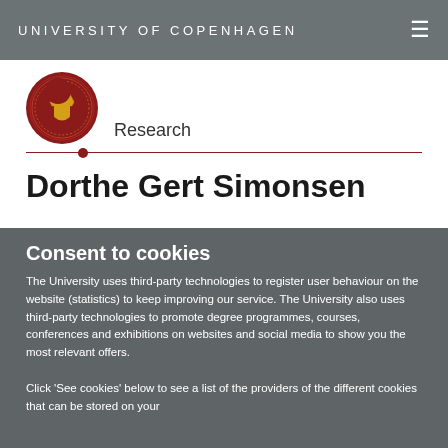UNIVERSITY OF COPENHAGEN
[Figure (logo): University of Copenhagen circular red seal/crest logo]
Research
Dorthe Gert Simonsen
Consent to cookies
The University uses third-party technologies to register user behaviour on the website (statistics) to keep improving our service. The University also uses third-party technologies to promote degree programmes, courses, conferences and exhibitions on websites and social media to show you the most relevant offers.
Click 'See cookies' below to see a list of the providers of the different cookies that can be stored on your